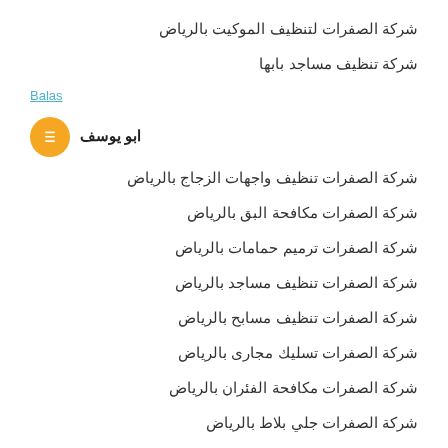شركة الصفرات لتنظيف الموكيت بالرياض
شركة تنظيف مساجد بابها
Balas
ابو يوسف
شركة الصفرات تنظيف واجهات الزجاج بالرياض
شركة الصفرات مكافحة البق بالرياض
شركة الصفرات ترميم حمامات بالرياض
شركة الصفرات تنظيف مساجد بالرياض
شركة الصفرات تنظيف مسابح بالرياض
شركة الصفرات تسليك مجارى بالرياض
شركة الصفرات مكافحة الفئران بالرياض
شركة الصفرات جلي بلاط بالرياض